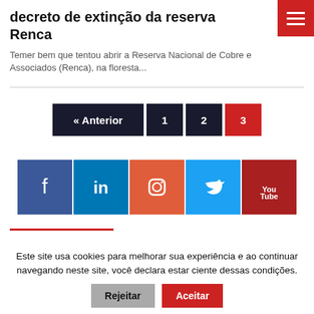decreto de extinção da reserva Renca
Temer bem que tentou abrir a Reserva Nacional de Cobre e Associados (Renca), na floresta...
[Figure (infographic): Pagination navigation bar with buttons: « Anterior, 1, 2, 3 (active, red)]
[Figure (infographic): Social media icon buttons: Facebook (blue), LinkedIn (blue), Instagram (orange-red), Twitter (light blue), YouTube (dark red)]
Este site usa cookies para melhorar sua experiência e ao continuar navegando neste site, você declara estar ciente dessas condições.
Rejeitar   Aceitar